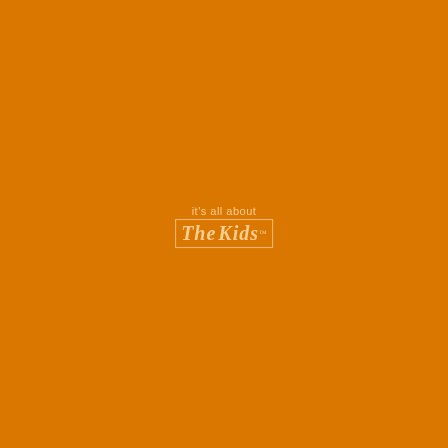[Figure (logo): Logo on solid orange background: small text 'it's all about' above a bordered box containing 'The Kids' in bold serif italic font, with a trademark symbol. All text is a light cream/orange tint color against the orange background.]